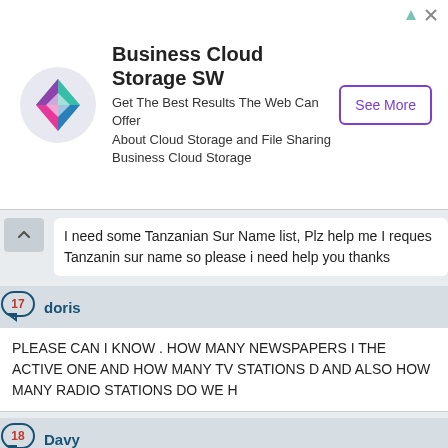[Figure (other): Advertisement banner for Business Cloud Storage SW with a colorful diamond logo, text description, and a 'See More' button]
I need some Tanzanian Sur Name list, Plz help me I reques Tanzanin sur name so please i need help you thanks
17 doris
PLEASE CAN I KNOW . HOW MANY NEWSPAPERS I THE ACTIVE ONE AND HOW MANY TV STATIONS D AND ALSO HOW MANY RADIO STATIONS DO WE H
18 Davy
I am a kenyan but interested very much working at Tanzan somebody give me details i.e addresses of Media houses th
19 Kevin
This is great...I would like to work with one of the media h